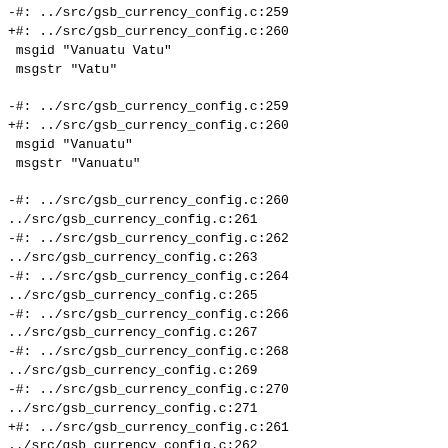-#: ../src/gsb_currency_config.c:259
+#: ../src/gsb_currency_config.c:260
 msgid "Vanuatu Vatu"
 msgstr "Vatu"

-#: ../src/gsb_currency_config.c:259
+#: ../src/gsb_currency_config.c:260
 msgid "Vanuatu"
 msgstr "Vanuatu"

-#: ../src/gsb_currency_config.c:260
../src/gsb_currency_config.c:261
-#: ../src/gsb_currency_config.c:262
../src/gsb_currency_config.c:263
-#: ../src/gsb_currency_config.c:264
../src/gsb_currency_config.c:265
-#: ../src/gsb_currency_config.c:266
../src/gsb_currency_config.c:267
-#: ../src/gsb_currency_config.c:268
../src/gsb_currency_config.c:269
-#: ../src/gsb_currency_config.c:270
../src/gsb_currency_config.c:271
+#: ../src/gsb_currency_config.c:261
../src/gsb_currency_config.c:262
+#: ../src/gsb_currency_config.c:263
../src/gsb_currency_config.c:264
+#: ../src/gsb_currency_config.c:265
../src/gsb_currency_config.c:266
+#: ../src/gsb_currency_config.c:267
../src/gsb_currency_config.c:268
+#: ../src/gsb_currency_config.c:269